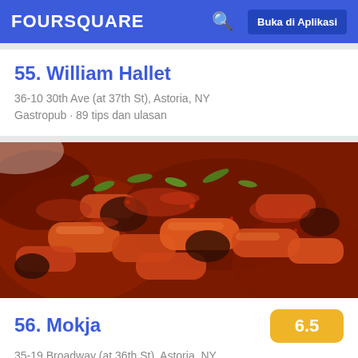FOURSQUARE  Buka di Aplikasi
55. William Hallet
36-10 30th Ave (at 37th St), Astoria, NY
Gastropub · 89 tips dan ulasan
[Figure (photo): Close-up photo of Korean spicy rice cake dish (tteokbokki) with green onions, red sauce, and various ingredients]
56. Mokja
6.5
35-19 Broadway (at 36th St), Astoria, NY
Restoran Korea · 20 tips dan ulasan